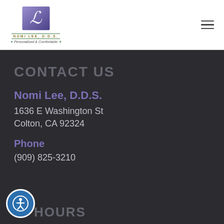[Figure (logo): Nomi Lee D.D.S. dental practice logo with stylized L monogram on purple gradient background, tagline Personalized & Comfortable]
CONTACT US
Nomi Lee, D.D.S.
1636 E Washington St
Colton, CA 92324
Phone
(909) 825-3210
HOURS